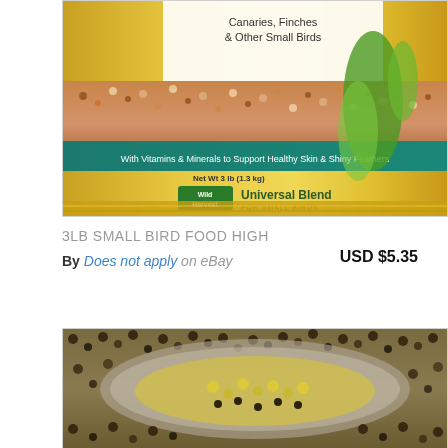[Figure (photo): Wild Harvest Universal Blend bird food bag for small birds, 3lb (1.3 kg). Gold bag with teal banner reading 'With Vitamins & Minerals to Support Healthy Skin & Shiny Feathers'. Features parakeets/parrots and text 'Canaries, Finches & Other Small Birds'.]
3LB SMALL BIRD FOOD HIGH
By Does not apply on eBay
USD $5.35
[Figure (photo): Close-up photo of bird seed/food in a bowl, showing mixed seeds including yellow millet and dark seeds on a textured surface.]